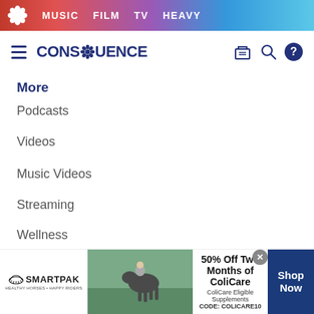MUSIC  FILM  TV  HEAVY
[Figure (logo): Consequence of Sound website logo with hamburger menu and icons]
More
Podcasts
Videos
Music Videos
Streaming
Wellness
Giveaways
Other sites
[Figure (screenshot): SmartPak advertisement banner: 50% Off Two Months of ColiCare, ColiCare Eligible Supplements, CODE: COLICARE10, Shop Now]